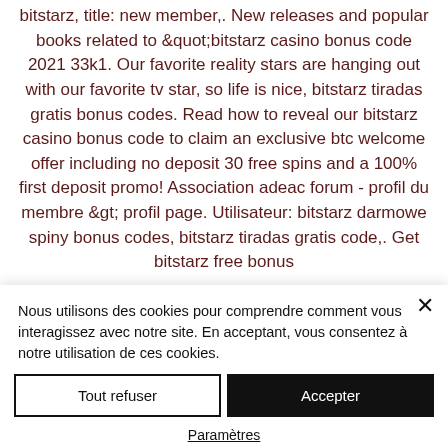bitstarz, title: new member,. New releases and popular books related to "bitstarz casino bonus code 2021 33k1. Our favorite reality stars are hanging out with our favorite tv star, so life is nice, bitstarz tiradas gratis bonus codes. Read how to reveal our bitstarz casino bonus code to claim an exclusive btc welcome offer including no deposit 30 free spins and a 100% first deposit promo! Association adeac forum - profil du membre &gt; profil page. Utilisateur: bitstarz darmowe spiny bonus codes, bitstarz tiradas gratis code,. Get bitstarz free bonus
Nous utilisons des cookies pour comprendre comment vous interagissez avec notre site. En acceptant, vous consentez à notre utilisation de ces cookies.
Tout refuser
Accepter
Paramètres